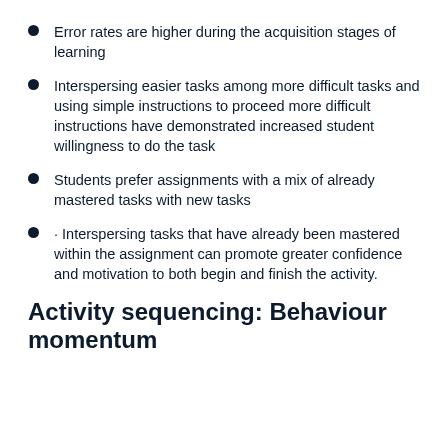Error rates are higher during the acquisition stages of learning
Interspersing easier tasks among more difficult tasks and using simple instructions to proceed more difficult instructions have demonstrated increased student willingness to do the task
Students prefer assignments with a mix of already mastered tasks with new tasks
· Interspersing tasks that have already been mastered within the assignment can promote greater confidence and motivation to both begin and finish the activity.
Activity sequencing: Behaviour momentum